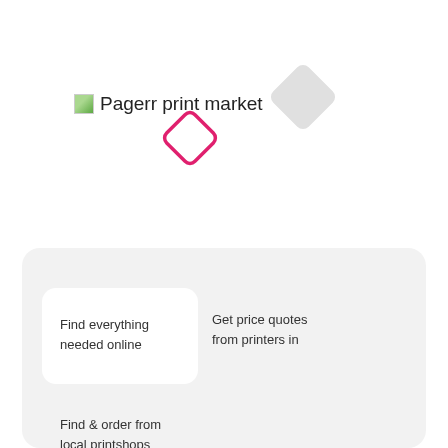[Figure (logo): Pagerr print market logo with small image icon and text]
[Figure (illustration): Large light gray diamond/rhombus shape in upper right area]
[Figure (illustration): Pink outlined diamond/rhombus shape in center area]
Find everything needed online
Get price quotes from printers in
Find & order from local printshops